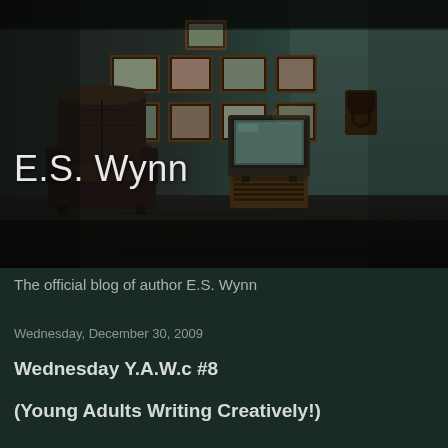[Figure (illustration): Dark, moody room interior with worn walls, several framed pictures on the wall, an old CRT television on a stand, a leather recliner chair, a rotary wall telephone, and dark wooden floor. Dimly lit with teal/green tones on the right wall.]
E.S. Wynn
The official blog of author E.S. Wynn
Wednesday, December 30, 2009
Wednesday Y.A.W.c #8
(Young Adults Writing Creatively!)